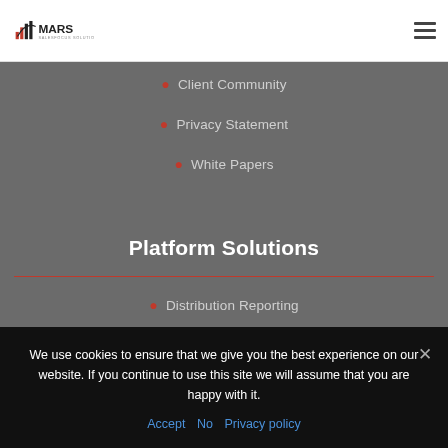[Figure (logo): MARS Salesfocus Solutions logo with bar chart icon]
Client Community
Privacy Statement
White Papers
Platform Solutions
Distribution Reporting
Advanced Sales & Prospecting Analytics
We use cookies to ensure that we give you the best experience on our website. If you continue to use this site we will assume that you are happy with it.
Accept   No   Privacy policy